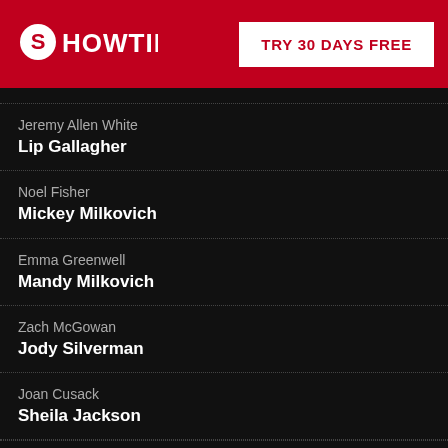[Figure (logo): Showtime logo in white on red background]
TRY 30 DAYS FREE
Jeremy Allen White
Lip Gallagher
Noel Fisher
Mickey Milkovich
Emma Greenwell
Mandy Milkovich
Zach McGowan
Jody Silverman
Joan Cusack
Sheila Jackson
WRITTEN BY
Etan Frankel
DEVELOPED FOR AMERICAN TELEVISION BY
John Wells
DIRECTED BY